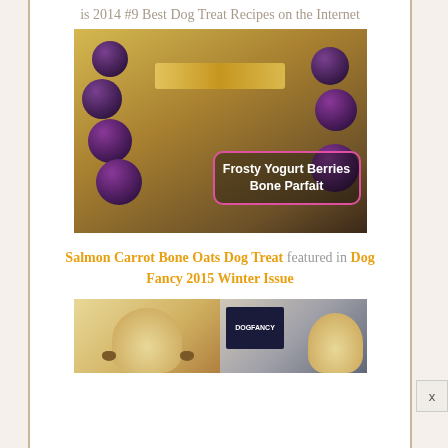is 2014 #9 Best Dog Treat Recipes on the Internet
[Figure (photo): Photo of a dog bone-shaped treat topped with granola and surrounded by blackberries and strawberries, with overlay text 'Frosty Yogurt Berries Bone Parfait']
Salmon Carrot Bone Oats Dog Treat featured in Dog Fancy 2015 Winter Issue
[Figure (photo): Photo showing a golden/yellow dog with a Dog Fancy magazine, partially cropped at the bottom]